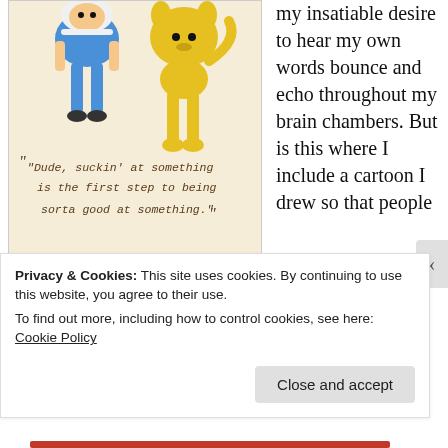[Figure (illustration): Cartoon illustration of two characters (Finn and Jake from Adventure Time) walking, with a handwritten quote: 'Dude, suckin' at something is the first step to being sorta good at something.']
I guess there's some inspiration to be found here.
my insatiable desire to hear my own words bounce and echo throughout my brain chambers. But is this where I include a cartoon I drew so that people
Privacy & Cookies: This site uses cookies. By continuing to use this website, you agree to their use.
To find out more, including how to control cookies, see here: Cookie Policy
Close and accept